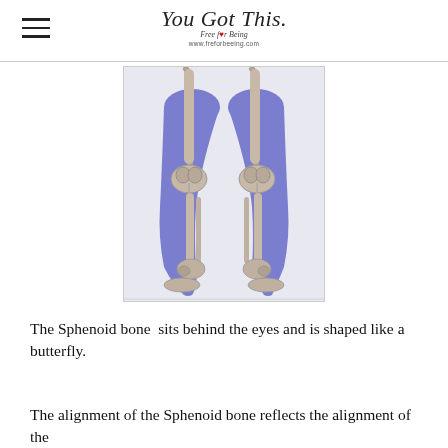You Got This. Free for Being www.freforbeeing.com
[Figure (illustration): Medical illustration showing front view of human legs with bones visible (knee joints, tibia, fibula, ankle bones) against a blue/purple muscle background, showing skeletal anatomy of lower limbs from mid-thigh to feet.]
The Sphenoid bone sits behind the eyes and is shaped like a butterfly.
The alignment of the Sphenoid bone reflects the alignment of the